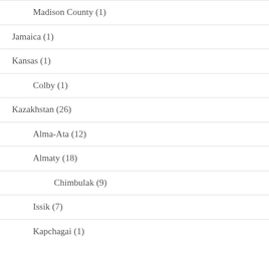Madison County (1)
Jamaica (1)
Kansas (1)
Colby (1)
Kazakhstan (26)
Alma-Ata (12)
Almaty (18)
Chimbulak (9)
Issik (7)
Kapchagai (1)